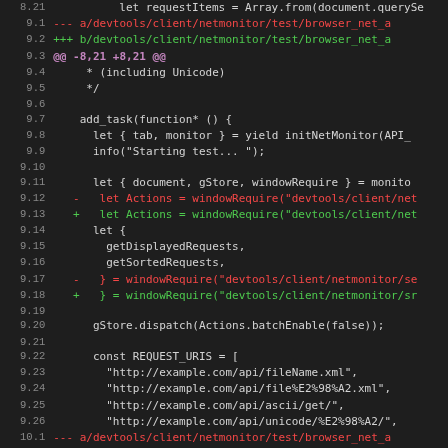[Figure (screenshot): Diff output of source code changes in a git patch, showing line numbers and colored additions/removals for JavaScript test files in devtools/client/netmonitor/test/]